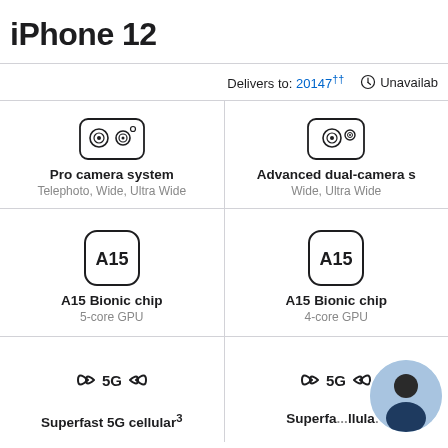iPhone 12
Delivers to: 20147†† Unavailable
[Figure (illustration): Pro camera system icon (triple camera) with label 'Pro camera system' and subtitle 'Telephoto, Wide, Ultra Wide']
[Figure (illustration): Advanced dual-camera system icon with label 'Advanced dual-camera s' and subtitle 'Wide, Ultra Wide']
[Figure (illustration): A15 chip icon (rounded square with A15 text) with label 'A15 Bionic chip' and subtitle '5-core GPU']
[Figure (illustration): A15 chip icon (rounded square with A15 text) with label 'A15 Bionic chip' and subtitle '4-core GPU']
[Figure (illustration): 5G icon with label 'Superfast 5G cellular³']
[Figure (illustration): 5G icon with label 'Superfa...llula...' partially obscured by avatar overlay]